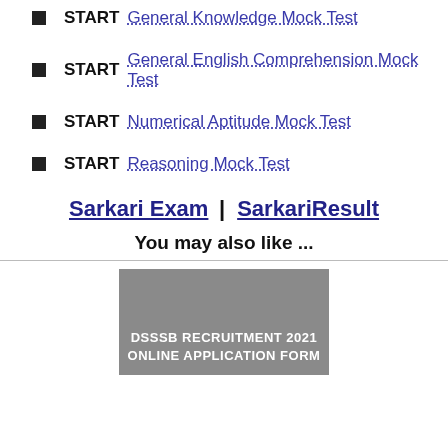START General Knowledge Mock Test
START General English Comprehension Mock Test
START Numerical Aptitude Mock Test
START Reasoning Mock Test
Sarkari Exam | SarkariResult
You may also like ...
[Figure (other): Gray placeholder card with text DSSSB RECRUITMENT 2021 ONLINE APPLICATION FORM]